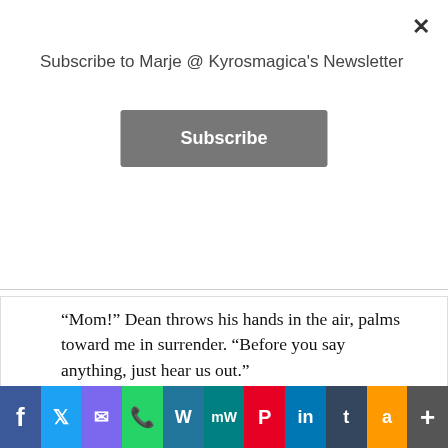Subscribe to Marje @ Kyrosmagica's Newsletter
Subscribe
“Mom!” Dean throws his hands in the air, palms toward me in surrender. “Before you say anything, just hear us out.” “You’re a villain,” I say and thrust the celery around like a sword. I wave it back and forth between them. “Both of you.” “Disarm yourself, Woman.” Marsha chimes in. “We only did what we had to. You never would’ve taken the initiative at work if we
Advertisements
[Figure (screenshot): Social media share bar with icons for Facebook, Twitter, Email, WhatsApp, WordPress, MW, Pinterest, LinkedIn, Tumblr, Amazon, and Add]